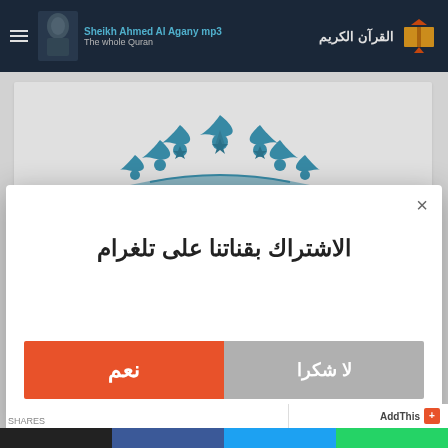Sheikh Ahmed Al Agany mp3 | The whole Quran | القرآن الكريم
[Figure (illustration): Decorative blue Islamic geometric ornamental pattern]
الاشتراك بقناتنا على تلغرام
نعم
لا شكرا
AddThis